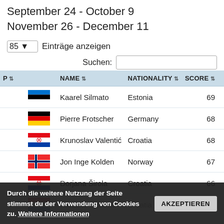September 24 - October 9
November 26 - December 11
85  Einträge anzeigen
Suchen:
| P ⇅ |  | NAME ⇅ | NATIONALITY ⇅ | SCORE ⇅ |
| --- | --- | --- | --- | --- |
|  | Estonia flag | Kaarel Silmato | Estonia | 69 |
|  | Germany flag | Pierre Frotscher | Germany | 68 |
|  | Croatia flag | Krunoslav Valentić | Croatia | 68 |
|  | Norway flag | Jon Inge Kolden | Norway | 67 |
|  | Croatia flag | Dorjana Širola | Croatia | 66 |
|  | Croatia flag | Krešimir Sučević | Croatia | 66 |
|  | flag | Niederal |  |  |
|  | Norway flag | Mats Sigstad | Norway | 66 |
Durch die weitere Nutzung der Seite stimmst du der Verwendung von Cookies zu. Weitere Informationen  AKZEPTIEREN